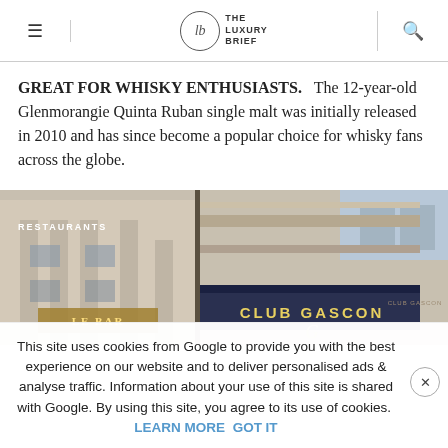THE LUXURY BRIEF
GREAT FOR WHISKY ENTHUSIASTS. The 12-year-old Glenmorangie Quinta Ruban single malt was initially released in 2010 and has since become a popular choice for whisky fans across the globe.
[Figure (photo): Exterior photo of Club Gascon restaurant showing classical stone facade with awnings and signage]
This site uses cookies from Google to provide you with the best experience on our website and to deliver personalised ads & analyse traffic. Information about your use of this site is shared with Google. By using this site, you agree to its use of cookies. LEARN MORE GOT IT